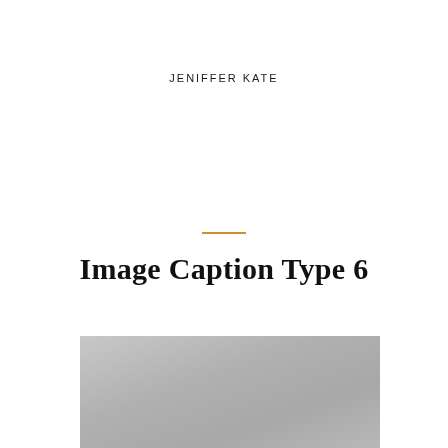JENIFFER KATE
Image Caption Type 6
[Figure (photo): Gray placeholder image block at the bottom of the page]